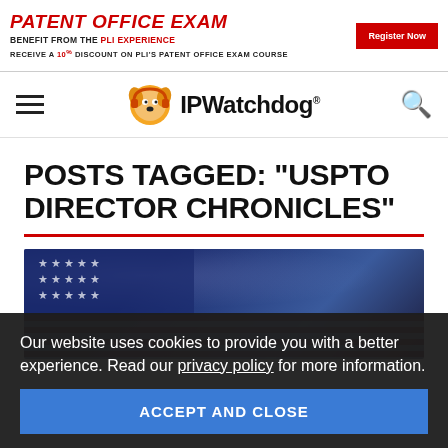[Figure (screenshot): Advertisement banner for PLI Patent Office Exam course with red text and Register Now button]
[Figure (logo): IPWatchdog website logo with cartoon dog mascot and site name, with hamburger menu and search icon]
POSTS TAGGED: "USPTO DIRECTOR CHRONICLES"
[Figure (photo): Photo with American flag background (stars and stripes visible), partially obscured by cookie consent banner]
Our website uses cookies to provide you with a better experience. Read our privacy policy for more information.
ACCEPT AND CLOSE